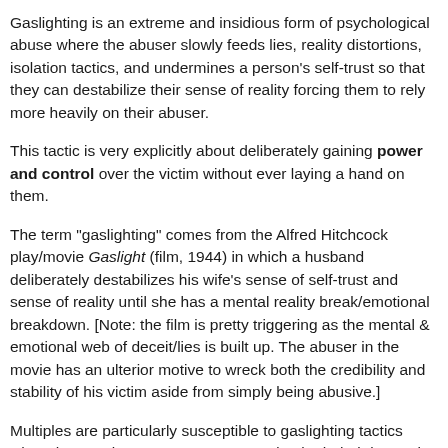Gaslighting is an extreme and insidious form of psychological abuse where the abuser slowly feeds lies, reality distortions, isolation tactics, and undermines a person's self-trust so that they can destabilize their sense of reality forcing them to rely more heavily on their abuser.
This tactic is very explicitly about deliberately gaining power and control over the victim without ever laying a hand on them.
The term "gaslighting" comes from the Alfred Hitchcock play/movie Gaslight (film, 1944) in which a husband deliberately destabilizes his wife's sense of self-trust and sense of reality until she has a mental reality break/emotional breakdown. [Note: the film is pretty triggering as the mental & emotional web of deceit/lies is built up. The abuser in the movie has an ulterior motive to wreck both the credibility and stability of his victim aside from simply being abusive.]
Multiples are particularly susceptible to gaslighting tactics when they are less aware or connected to both their internal reality